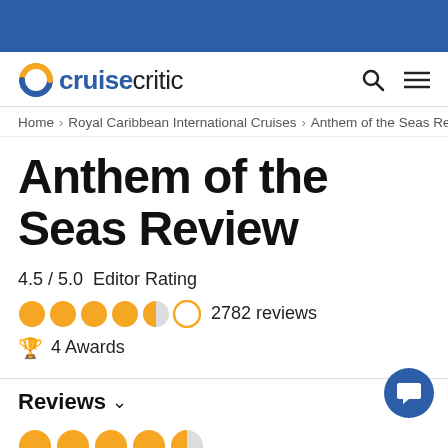[Figure (logo): Cruise Critic logo with orange/blue C icon and text 'cruisecritic']
Home > Royal Caribbean International Cruises > Anthem of the Seas Re
Anthem of the Seas Review
4.5 / 5.0  Editor Rating
2782 reviews
4 Awards
Reviews
[Figure (other): Partial row of orange star ratings at bottom of page]